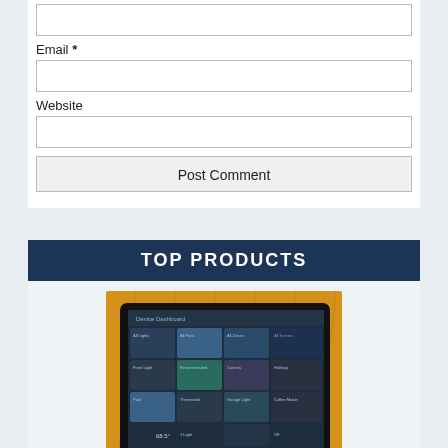Email *
Website
Post Comment
TOP PRODUCTS
[Figure (photo): Person in yellow sweater holding a dark tablet displaying a smart home Device Dashboard interface with multiple control tiles]